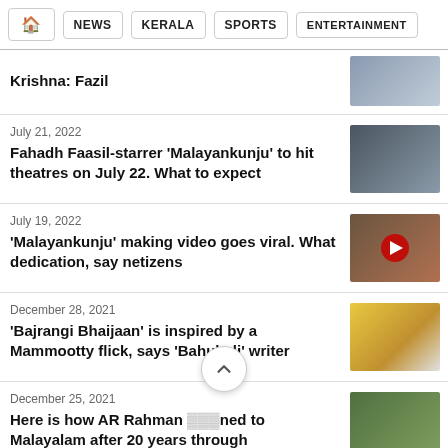HOME | NEWS | KERALA | SPORTS | ENTERTAINMENT
Krishna: Fazil
July 21, 2022
Fahadh Faasil-starrer 'Malayankunju' to hit theatres on July 22. What to expect
July 19, 2022
'Malayankunju' making video goes viral. What dedication, say netizens
December 28, 2021
'Bajrangi Bhaijaan' is inspired by a Mammootty flick, says 'Bahubali' writer
December 25, 2021
Here is how AR Rahman ___ned to Malayalam after 20 years through